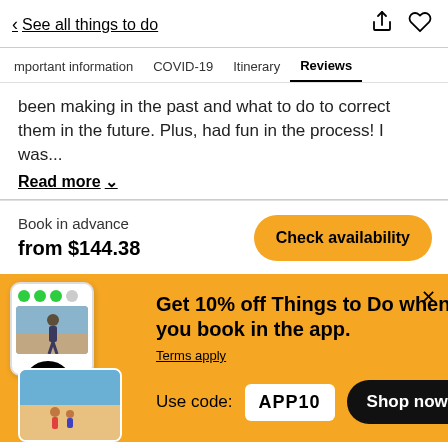< See all things to do
Important information  COVID-19  Itinerary  Reviews
been making in the past and what to do to correct them in the future. Plus, had fun in the process! I was...
Read more
Book in advance
from $144.38
Check availability
Get 10% off Things to Do when you book in the app.
Terms apply
Use code: APP10
Shop now